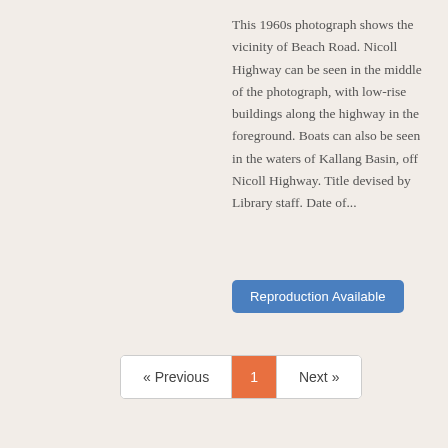This 1960s photograph shows the vicinity of Beach Road. Nicoll Highway can be seen in the middle of the photograph, with low-rise buildings along the highway in the foreground. Boats can also be seen in the waters of Kallang Basin, off Nicoll Highway. Title devised by Library staff. Date of...
Reproduction Available
« Previous 1 Next »